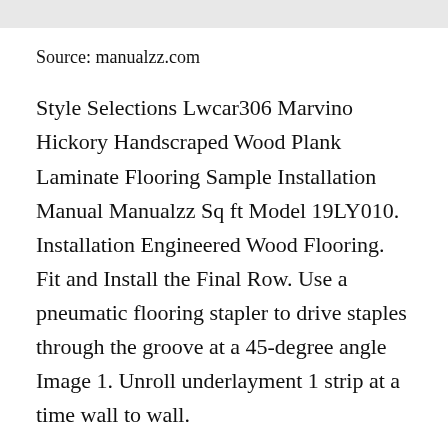Source: manualzz.com
Style Selections Lwcar306 Marvino Hickory Handscraped Wood Plank Laminate Flooring Sample Installation Manual Manualzz Sq ft Model 19LY010. Installation Engineered Wood Flooring. Fit and Install the Final Row. Use a pneumatic flooring stapler to drive staples through the groove at a 45-degree angle Image 1. Unroll underlayment 1 strip at a time wall to wall.